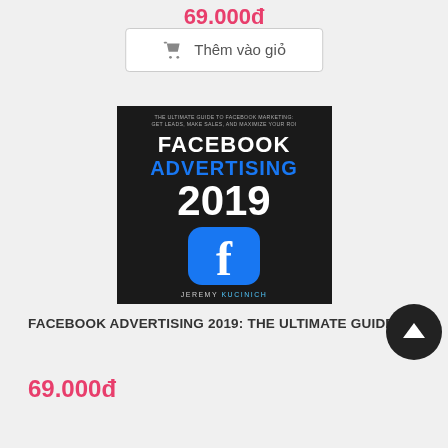69.000đ
Thêm vào giỏ
[Figure (photo): Book cover of 'Facebook Advertising 2019: The Ultimate Guide to Facebook Marketing: Get Leads, Make Sales, and Maximize Your ROI' by Jeremy Kucinich. Dark background with Facebook logo.]
FACEBOOK ADVERTISING 2019: THE ULTIMATE GUIDE T…
69.000đ